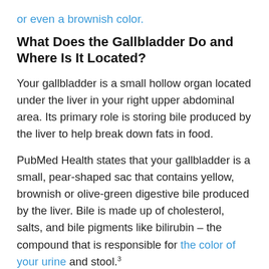or even a brownish color.
What Does the Gallbladder Do and Where Is It Located?
Your gallbladder is a small hollow organ located under the liver in your right upper abdominal area. Its primary role is storing bile produced by the liver to help break down fats in food.
PubMed Health states that your gallbladder is a small, pear-shaped sac that contains yellow, brownish or olive-green digestive bile produced by the liver. Bile is made up of cholesterol, salts, and bile pigments like bilirubin – the compound that is responsible for the color of your urine and stool.3